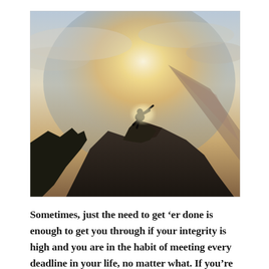[Figure (photo): A silhouette of a person climbing to the top of a rocky mountain peak, with bright sunlight glowing behind them and misty mountains in the background. The image is dramatic with high contrast between the dark rocks and the bright sky.]
Sometimes, just the need to get 'er done is enough to get you through if your integrity is high and you are in the habit of meeting every deadline in your life, no matter what. If you're not that self-abusive, you might need to find another way to rustle up some motivation to